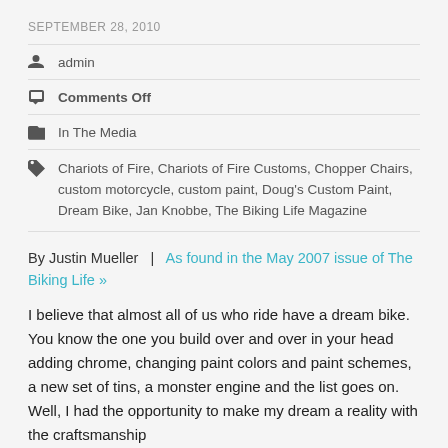SEPTEMBER 28, 2010
admin
Comments Off
In The Media
Chariots of Fire, Chariots of Fire Customs, Chopper Chairs, custom motorcycle, custom paint, Doug's Custom Paint, Dream Bike, Jan Knobbe, The Biking Life Magazine
By Justin Mueller  |  As found in the May 2007 issue of The Biking Life »
I believe that almost all of us who ride have a dream bike. You know the one you build over and over in your head adding chrome, changing paint colors and paint schemes, a new set of tins, a monster engine and the list goes on. Well, I had the opportunity to make my dream a reality with the craftsmanship